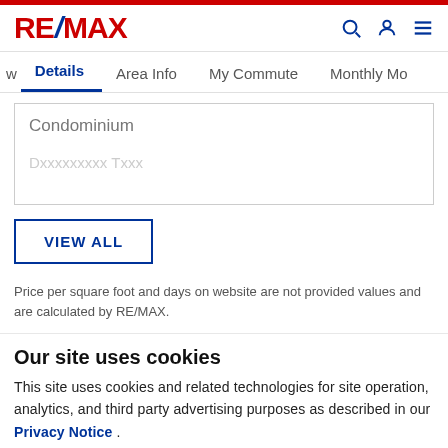RE/MAX
Details | Area Info | My Commute | Monthly Mo
Condominium
VIEW ALL
Price per square foot and days on website are not provided values and are calculated by RE/MAX.
Our site uses cookies
This site uses cookies and related technologies for site operation, analytics, and third party advertising purposes as described in our Privacy Notice .
ACCEPT